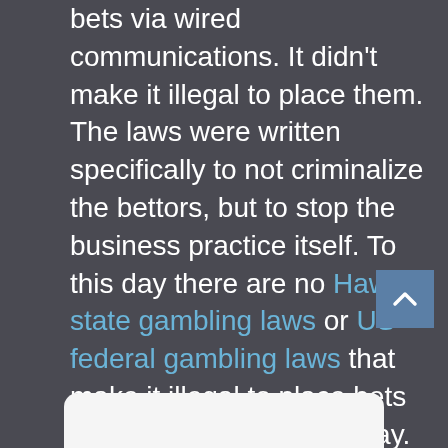bets via wired communications. It didn't make it illegal to place them. The laws were written specifically to not criminalize the bettors, but to stop the business practice itself. To this day there are no Hawaii state gambling laws or US federal gambling laws that make it illegal to place bets over the internet in anyway. It remains only illegal to operate a sports gambling enterprise over the internet in America. If that sports gambling enterprise is being operated outside of US federal jurisdiction there are no laws in either the federal government or the HI state government that can stop you.